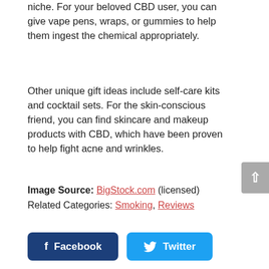niche. For your beloved CBD user, you can give vape pens, wraps, or gummies to help them ingest the chemical appropriately.
Other unique gift ideas include self-care kits and cocktail sets. For the skin-conscious friend, you can find skincare and makeup products with CBD, which have been proven to help fight acne and wrinkles.
Image Source: BigStock.com (licensed)
Related Categories: Smoking, Reviews
[Figure (other): Social share buttons for Facebook and Twitter, and a scroll-to-top button]